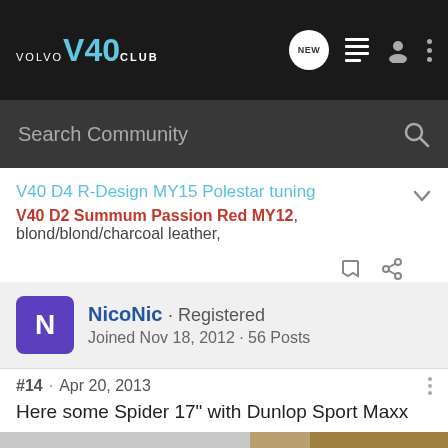VOLVO V40 CLUB
Search Community
V40 D4 R-Design MY15 Polestar tuning
V40 D2 Summum Passion Red MY12, blond/blond/charcoal leather,
NicoNic · Registered
Joined Nov 18, 2012 · 56 Posts
#14 · Apr 20, 2013
Here some Spider 17" with Dunlop Sport Maxx RT 205/50 R17:
[Figure (photo): Partial view of a silver Volvo V40 side panel and front headlight area, outdoors with autumn foliage in background]